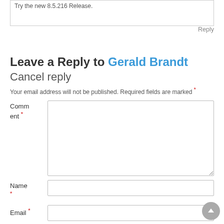Try the new 8.5.216 Release.
Reply
Leave a Reply to Gerald Brandt Cancel reply
Your email address will not be published. Required fields are marked *
Comment *
Name *
Email *